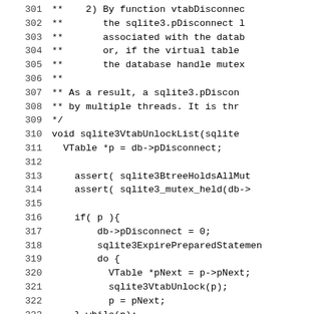301  **    2) By function vtabDisconnec
302  **       the sqlite3.pDisconnect l
303  **       associated with the datab
304  **       or, if the virtual table
305  **       the database handle mutex
306  **
307  ** As a result, a sqlite3.pDiscon
308  ** by multiple threads. It is thr
309  */
310  void sqlite3VtabUnlockList(sqlite
311    VTable *p = db->pDisconnect;
312
313      assert( sqlite3BtreeHoldsAllMut
314      assert( sqlite3_mutex_held(db->
315
316      if( p ){
317          db->pDisconnect = 0;
318          sqlite3ExpirePreparedStatemen
319          do {
320            VTable *pNext = p->pNext;
321            sqlite3VtabUnlock(p);
322            p = pNext;
323      } while(p);